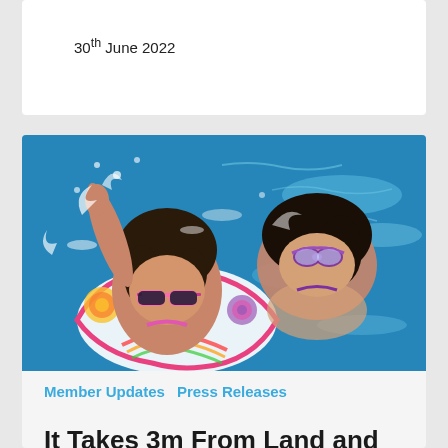30th June 2022
[Figure (photo): Two children playing in a swimming pool; one wearing pink sunglasses on a colorful inflatable ring, the other in purple goggles, with splashing blue water around them.]
Member Updates   Press Releases
It Takes 3m From Land and 20" To Drown!